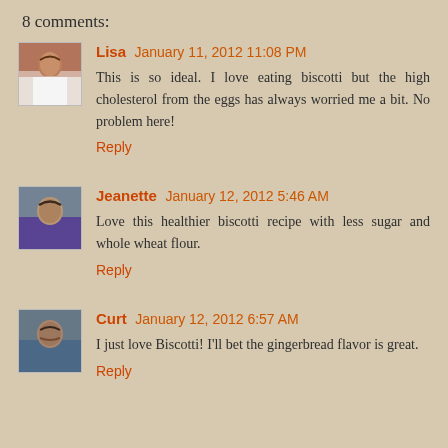8 comments:
[Figure (photo): Avatar photo of Lisa, a woman in white top against a brick background]
Lisa January 11, 2012 11:08 PM
This is so ideal. I love eating biscotti but the high cholesterol from the eggs has always worried me a bit. No problem here!
Reply
[Figure (photo): Avatar photo of Jeanette, a woman in a purple top]
Jeanette January 12, 2012 5:46 AM
Love this healthier biscotti recipe with less sugar and whole wheat flour.
Reply
[Figure (photo): Avatar photo of Curt, a man with a mustache]
Curt January 12, 2012 6:57 AM
I just love Biscotti! I'll bet the gingerbread flavor is great.
Reply